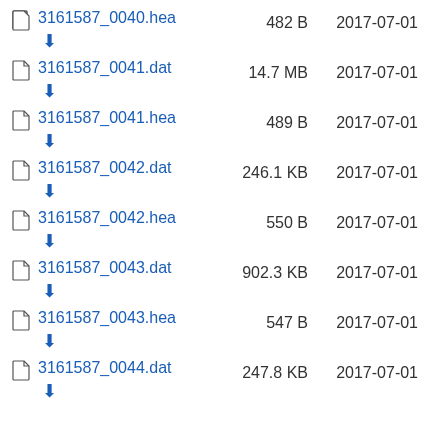3161587_0040.hea  482 B  2017-07-01
3161587_0041.dat  14.7 MB  2017-07-01
3161587_0041.hea  489 B  2017-07-01
3161587_0042.dat  246.1 KB  2017-07-01
3161587_0042.hea  550 B  2017-07-01
3161587_0043.dat  902.3 KB  2017-07-01
3161587_0043.hea  547 B  2017-07-01
3161587_0044.dat  247.8 KB  2017-07-01